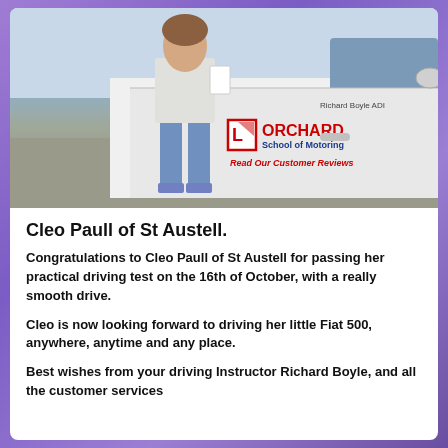[Figure (photo): A person standing beside a white car with Orchard School of Motoring branding on the door. The car door shows 'Richard Boyle ADI' text, the Orchard School of Motoring logo with L-plate, and 'Read Our Customer Reviews' text.]
Cleo Paull of St Austell.
Congratulations to Cleo Paull of St Austell for passing her practical driving test on the 16th of October, with a really smooth drive.
Cleo is now looking forward to driving her little Fiat 500, anywhere, anytime and any place.
Best wishes from your driving Instructor Richard Boyle, and all the customer services